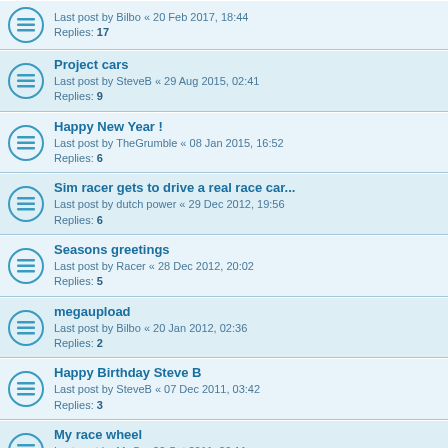Last post by Bilbo « 20 Feb 2017, 18:44 | Replies: 17
Project cars | Last post by SteveB « 29 Aug 2015, 02:41 | Replies: 9
Happy New Year ! | Last post by TheGrumble « 08 Jan 2015, 16:52 | Replies: 6
Sim racer gets to drive a real race car... | Last post by dutch power « 29 Dec 2012, 19:56 | Replies: 6
Seasons greetings | Last post by Racer « 28 Dec 2012, 20:02 | Replies: 5
megaupload | Last post by Bilbo « 20 Jan 2012, 02:36 | Replies: 2
Happy Birthday Steve B | Last post by SteveB « 07 Dec 2011, 03:42 | Replies: 3
My race wheel | Last post by Mr G « 22 Oct 2011, 20:11 | Replies: 8
R.I.P. Dan Wheldon. | Last post by Mr G « 18 Oct 2011, 19:06 | Replies: 4
F1 2011 (the game) | Last post by Coffeemachine « 16 Oct 2011, 22:27 | Replies: 7
rF2 trailer